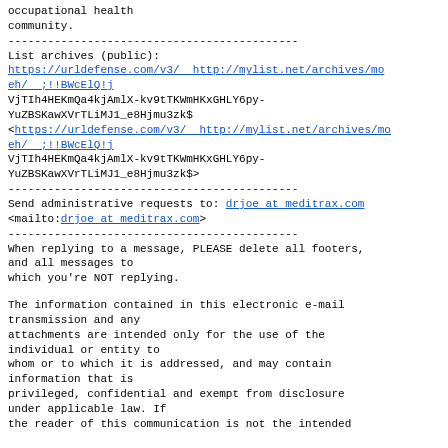occupational health
community.
--------------------------------------------
List archives (public):
https://urldefense.com/v3/  http://mylist.net/archives/mo
eh/  ;!!BWcElQ!j
VjTIh4HEKmQa4kjAmlX-kv9tTKWmHKxGHLY6py-
YuZBSKawXVrTLiMJ1_e8Hjmu3zk$
<https://urldefense.com/v3/  http://mylist.net/archives/mo
eh/  ;!!BWcElQ!j
VjTIh4HEKmQa4kjAmlX-kv9tTKWmHKxGHLY6py-
YuZBSKawXVrTLiMJ1_e8Hjmu3zk$>
--------------------------------------------
Send administrative requests to: drjoe at meditrax.com
<mailto:drjoe at meditrax.com>
--------------------------------------------
When replying to a message, PLEASE delete all footers,
and all messages to
which you're NOT replying.
The information contained in this electronic e-mail
transmission and any
attachments are intended only for the use of the
individual or entity to
whom or to which it is addressed, and may contain
information that is
privileged, confidential and exempt from disclosure
under applicable law. If
the reader of this communication is not the intended